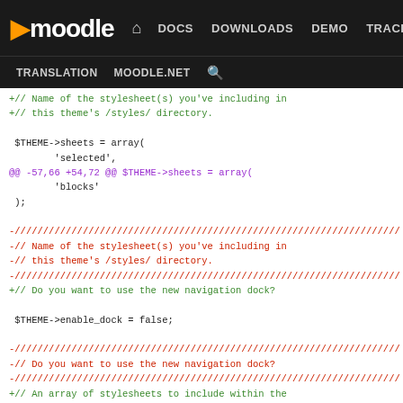moodle — DOCS DOWNLOADS DEMO TRACKER DEV TRANSLATION MOODLE.NET
[Figure (screenshot): Moodle developer site navigation bar with logo and nav links including DOCS, DOWNLOADS, DEMO, TRACKER, DEV (highlighted in purple), TRANSLATION, MOODLE.NET, and search icon]
+// Name of the stylesheet(s) you've including in
+// this theme's /styles/ directory.
 $THEME->sheets = array(
        'selected',
@@ -57,66 +54,72 @@ $THEME->sheets = array(
        'blocks'
 );

-////////////////////////////////////////////////////////////////////
-// Name of the stylesheet(s) you've including in
-// this theme's /styles/ directory.
-////////////////////////////////////////////////////////////////////
+// Do you want to use the new navigation dock?

 $THEME->enable_dock = false;

-////////////////////////////////////////////////////////////////////
-// Do you want to use the new navigation dock?
-////////////////////////////////////////////////////////////////////
+// An array of stylesheets to include within the
+// body of the editor.

 $THEME->editor_sheets = array('editor');

-////////////////////////////////////////////////////////////////////